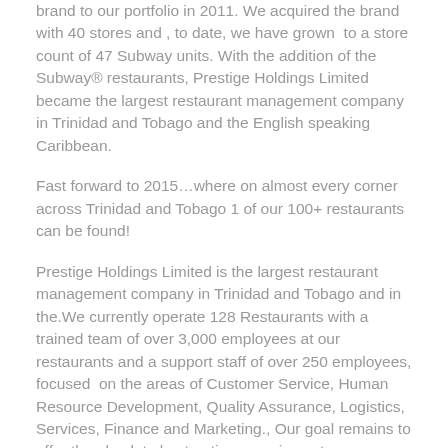brand to our portfolio in 2011. We acquired the brand with 40 stores and , to date, we have grown to a store count of 47 Subway units. With the addition of the Subway® restaurants, Prestige Holdings Limited became the largest restaurant management company in Trinidad and Tobago and the English speaking Caribbean.
Fast forward to 2015…where on almost every corner across Trinidad and Tobago 1 of our 100+ restaurants can be found!
Prestige Holdings Limited is the largest restaurant management company in Trinidad and Tobago and in the.We currently operate 128 Restaurants with a trained team of over 3,000 employees at our restaurants and a support staff of over 250 employees, focused on the areas of Customer Service, Human Resource Development, Quality Assurance, Logistics, Services, Finance and Marketing., Our goal remains to offer the absolute best eating experience to you, our valued customer, using only the freshest ingredients and delivering world class operations.